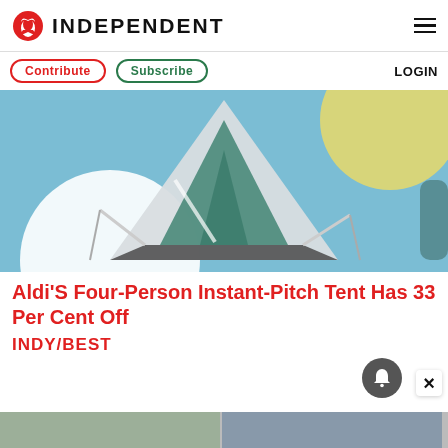INDEPENDENT
Contribute   Subscribe   LOGIN
[Figure (photo): A gray and teal four-person instant-pitch tent photographed against a light blue background with a yellow circle and white circle graphic design.]
Aldi'S Four-Person Instant-Pitch Tent Has 33 Per Cent Off
INDY/BEST
[Figure (photo): Partial bottom strip showing thumbnails of related articles.]